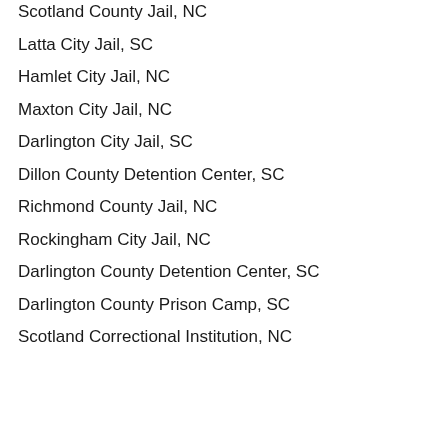Scotland County Jail, NC
Latta City Jail, SC
Hamlet City Jail, NC
Maxton City Jail, NC
Darlington City Jail, SC
Dillon County Detention Center, SC
Richmond County Jail, NC
Rockingham City Jail, NC
Darlington County Detention Center, SC
Darlington County Prison Camp, SC
Scotland Correctional Institution, NC